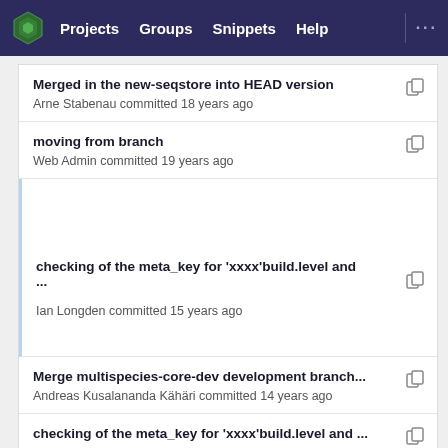Projects  Groups  Snippets  Help  ...
Merged in the new-seqstore into HEAD version
Arne Stabenau committed 18 years ago
moving from branch
Web Admin committed 19 years ago
checking of the meta_key for 'xxxx'build.level and ...
Ian Longden committed 15 years ago
Merge multispecies-core-dev development branch...
Andreas Kusalananda Kähäri committed 14 years ago
checking of the meta_key for 'xxxx'build.level and ...